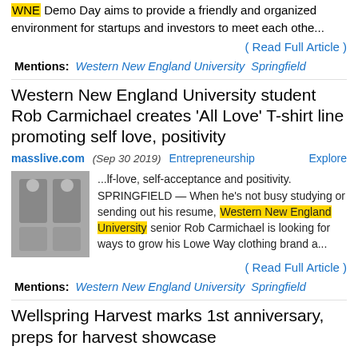WNE Demo Day aims to provide a friendly and organized environment for startups and investors to meet each othe...
( Read Full Article )
Mentions: Western New England University  Springfield
Western New England University student Rob Carmichael creates ‘All Love’ T-shirt line promoting self love, positivity
masslive.com (Sep 30 2019)  Entrepreneurship  Explore
...lf-love, self-acceptance and positivity. SPRINGFIELD — When he's not busy studying or sending out his resume, Western New England University senior Rob Carmichael is looking for ways to grow his Lowe Way clothing brand a...
( Read Full Article )
Mentions: Western New England University  Springfield
Wellspring Harvest marks 1st anniversary, preps for harvest showcase
masslive.com (Aug 14 2019)  Explore
...Armata's Market and the Go Fresh Mobile Market,